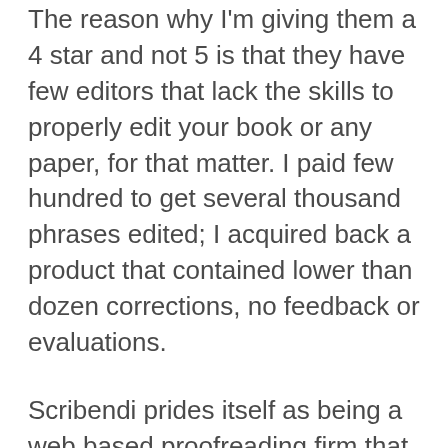The reason why I'm giving them a 4 star and not 5 is that they have few editors that lack the skills to properly edit your book or any paper, for that matter. I paid few hundred to get several thousand phrases edited; I acquired back a product that contained lower than dozen corrections, no feedback or evaluations.
Scribendi prides itself as being a web based proofreading firm that renders prime quality editing and proofreading at a fast turnaround time and at inexpensive charges. With such nice uk essays guarantees, the client would surely anticipate for one of the best. And surely does not disappoint.